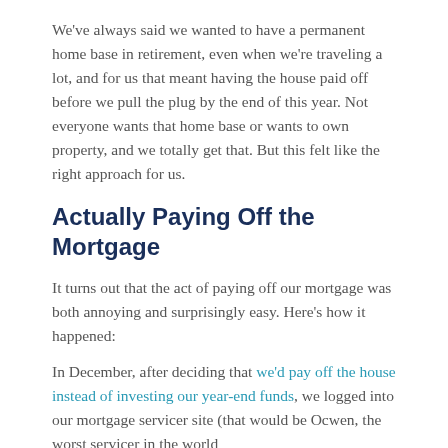We've always said we wanted to have a permanent home base in retirement, even when we're traveling a lot, and for us that meant having the house paid off before we pull the plug by the end of this year. Not everyone wants that home base or wants to own property, and we totally get that. But this felt like the right approach for us.
Actually Paying Off the Mortgage
It turns out that the act of paying off our mortgage was both annoying and surprisingly easy. Here's how it happened:
In December, after deciding that we'd pay off the house instead of investing our year-end funds, we logged into our mortgage servicer site (that would be Ocwen, the worst servicer in the world